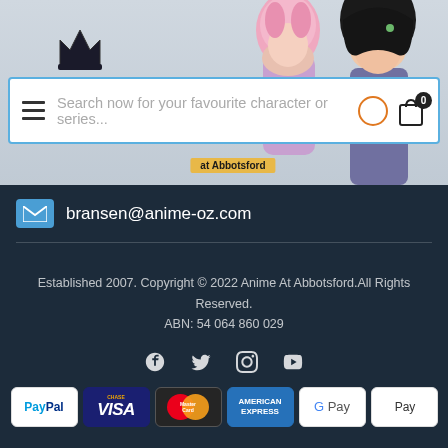[Figure (screenshot): Website header with anime character banner and search bar overlay. Search bar reads 'Search now for your favourite character or series...' with hamburger menu icon on left and cart icon with badge '0' on right. Banner shows 'at Abbotsford' label.]
bransen@anime-oz.com
Established 2007. Copyright © 2022 Anime At Abbotsford.All Rights Reserved.
ABN: 54 064 860 029
[Figure (infographic): Social media icons row: Facebook, Twitter, Instagram, YouTube]
[Figure (infographic): Payment method badges: PayPal, VISA, MasterCard, American Express, G Pay, Apple Pay]